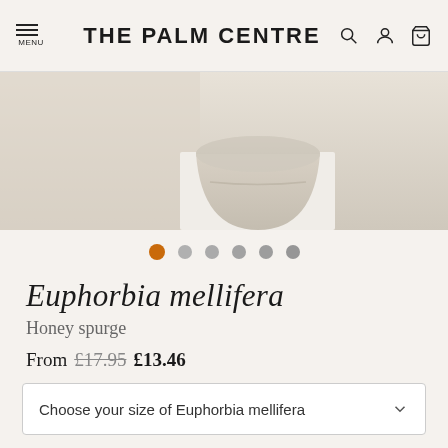THE PALM CENTRE
[Figure (photo): Product photo of Euphorbia mellifera plant in a beige/cream pot on a white surface, partial view showing pot and bottom of plant]
Euphorbia mellifera
Honey spurge
From £17.95 £13.46
Choose your size of Euphorbia mellifera
This lovely evergreen shrub forms an attractive dome